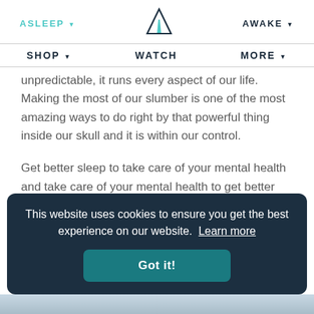ASLEEP ▾  [logo]  AWAKE ▾
SHOP ▾  WATCH  MORE ▾
unpredictable, it runs every aspect of our life. Making the most of our slumber is one of the most amazing ways to do right by that powerful thing inside our skull and it is within our control.
Get better sleep to take care of your mental health and take care of your mental health to get better sleep.
This website uses cookies to ensure you get the best experience on our website. Learn more
Got it!